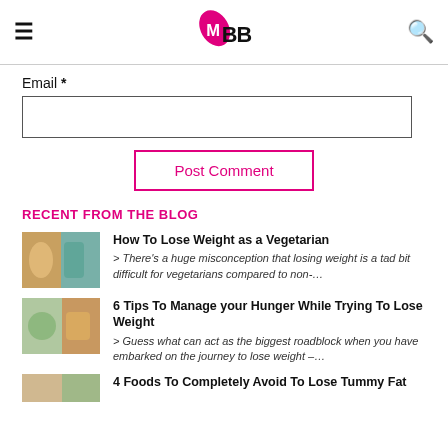IMBB logo, hamburger menu, search icon
Email *
Post Comment
RECENT FROM THE BLOG
[Figure (photo): Thumbnail image for vegetarian weight loss article]
How To Lose Weight as a Vegetarian
> There's a huge misconception that losing weight is a tad bit difficult for vegetarians compared to non-…
[Figure (photo): Thumbnail image for hunger management article]
6 Tips To Manage your Hunger While Trying To Lose Weight
> Guess what can act as the biggest roadblock when you have embarked on the journey to lose weight –…
[Figure (photo): Thumbnail image for tummy fat article]
4 Foods To Completely Avoid To Lose Tummy Fat